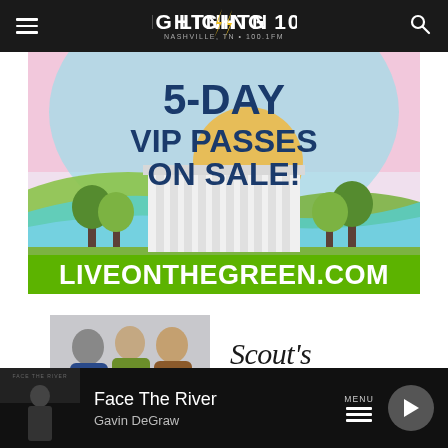Lightning 100 – Nashville, TN • 100.1FM
[Figure (illustration): Live on the Green festival advertisement showing a colorful illustrated landscape with a building in the center. Text reads '5-DAY VIP PASSES ON SALE!' and 'LIVEONTHEGREEN.COM' at the bottom on a green banner.]
[Figure (photo): Scout's Barbershop advertisement showing three people (two men, one woman) standing together on the left, and the Scout's Barbershop logo with tagline 'A Place For Everyone' on the right.]
Face The River
Gavin DeGraw